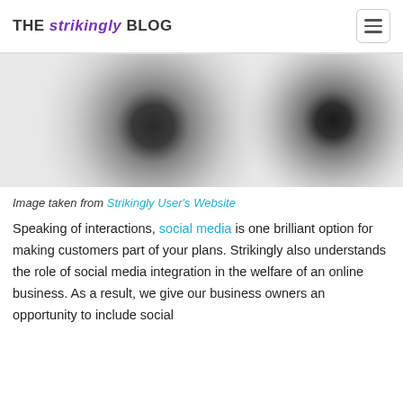THE strikingly BLOG
[Figure (photo): Two blurred circular dark/grey concentric shapes on a light background, resembling eyes or vinyl records, partially cropped.]
Image taken from Strikingly User's Website
Speaking of interactions, social media is one brilliant option for making customers part of your plans. Strikingly also understands the role of social media integration in the welfare of an online business. As a result, we give our business owners an opportunity to include social